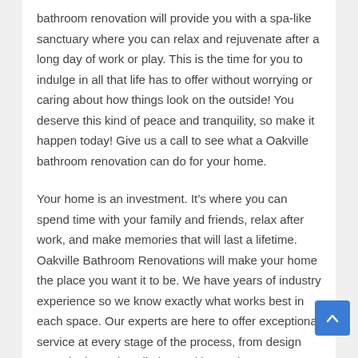bathroom renovation will provide you with a spa-like sanctuary where you can relax and rejuvenate after a long day of work or play. This is the time for you to indulge in all that life has to offer without worrying or caring about how things look on the outside! You deserve this kind of peace and tranquility, so make it happen today! Give us a call to see what a Oakville bathroom renovation can do for your home.
Your home is an investment. It’s where you can spend time with your family and friends, relax after work, and make memories that will last a lifetime. Oakville Bathroom Renovations will make your home the place you want it to be. We have years of industry experience so we know exactly what works best in each space. Our experts are here to offer exceptional service at every stage of the process, from design consultation to installation and beyond.